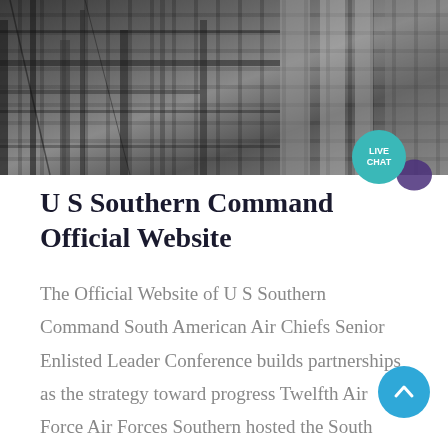[Figure (photo): Photo of industrial or military machinery/equipment, dark metal structures with cables and hardware]
U S Southern Command Official Website
The Official Website of U S Southern Command South American Air Chiefs Senior Enlisted Leader Conference builds partnerships as the strategy toward progress Twelfth Air Force Air Forces Southern hosted the South American Air Chiefs and Senior Enlisted Leaders